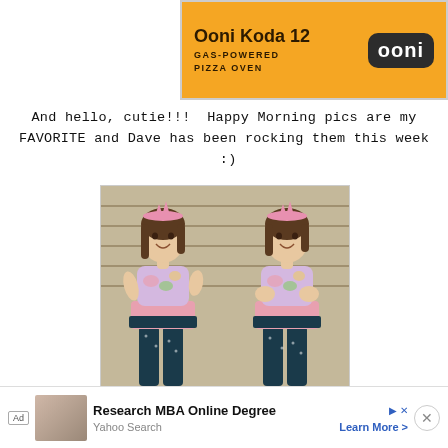[Figure (photo): Ooni Koda 12 Gas-Powered Pizza Oven advertisement banner with yellow background and Ooni logo]
And hello, cutie!!!  Happy Morning pics are my FAVORITE and Dave has been rocking them this week :)
[Figure (photo): Two side-by-side photos of a young smiling girl wearing a pink floral outfit with a pink crown headband, posing outside against a grey wall]
[Figure (photo): Bottom advertisement: Research MBA Online Degree - Yahoo Search - Learn More, with Ad badge and thumbnail of people studying]